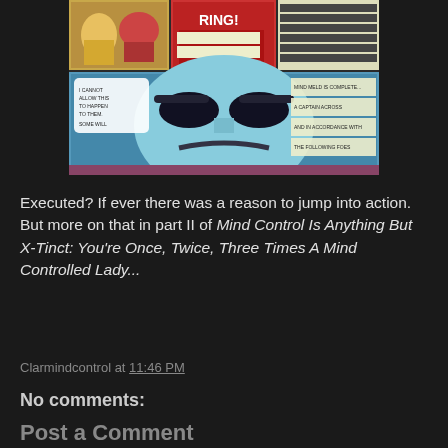[Figure (illustration): Comic book panels showing action scenes and a close-up of a large menacing alien/villain face with dark eye markings, speech bubbles, and caption boxes in a blue-tinted color scheme]
Executed? If ever there was a reason to jump into action. But more on that in part II of Mind Control Is Anything But X-Tinct: You're Once, Twice, Three Times A Mind Controlled Lady...
Clarmindcontrol at 11:46 PM
No comments:
Post a Comment